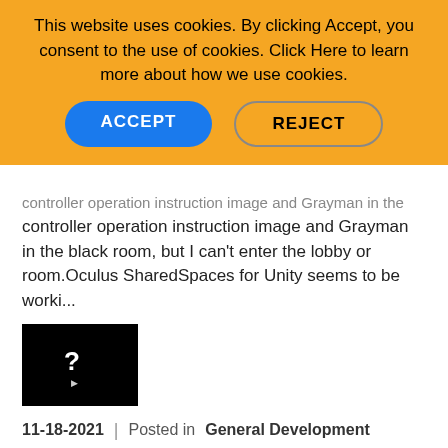This website uses cookies. By clicking Accept, you consent to the use of cookies. Click Here to learn more about how we use cookies.
controller operation instruction image and Grayman in the black room, but I can't enter the lobby or room.Oculus SharedSpaces for Unity seems to be worki...
[Figure (screenshot): Small dark thumbnail image with a white arrow/question mark icon on black background]
11-18-2021  |  Posted in General Development
by sl_joseph · Level 2
464  0  2